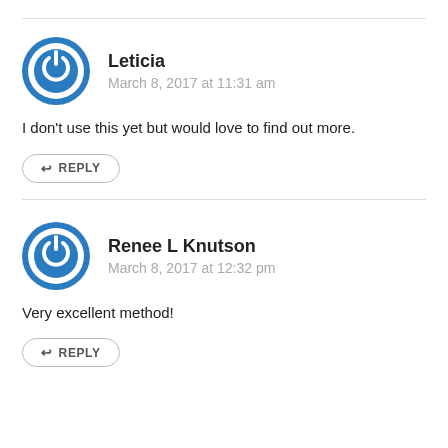Leticia
March 8, 2017 at 11:31 am
I don't use this yet but would love to find out more.
REPLY
Renee L Knutson
March 8, 2017 at 12:32 pm
Very excellent method!
REPLY